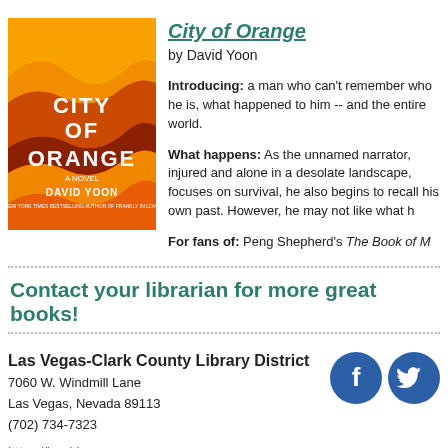[Figure (illustration): Book cover of City of Orange by David Yoon — bold orange, yellow, brown wave shapes on an orange background with white text]
City of Orange
by David Yoon
Introducing: a man who can't remember who he is, what happened to him -- and the entire world.
What happens: As the unnamed narrator, injured and alone in a desolate landscape, focuses on survival, he also begins to recall his own past. However, he may not like what h
For fans of: Peng Shepherd's The Book of M
Contact your librarian for more great books!
Las Vegas-Clark County Library District
7060 W. Windmill Lane
Las Vegas, Nevada 89113
(702) 734-7323
https://lvccld.org